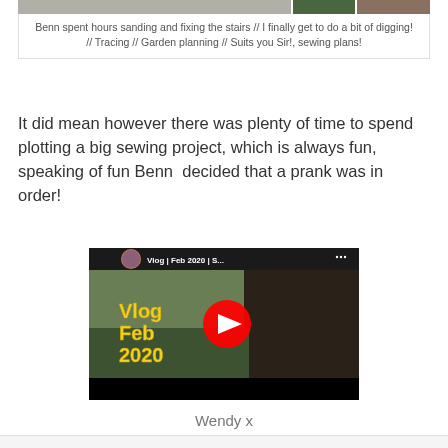[Figure (photo): Strip of photos at top of page showing stairs and outdoor scenes]
Benn spent hours sanding and fixing the stairs // I finally get to do a bit of digging!
// Tracing // Garden planning // Suits you Sir!, sewing plans!
It did mean however there was plenty of time to spend plotting a big sewing project, which is always fun, speaking of fun Benn  decided that a prank was in order!
[Figure (screenshot): YouTube video thumbnail showing 'Vlog | Feb 2020 | S...' with a woman looking out a window and 'Vlog Feb 2020' text overlay in yellow, with a red YouTube play button]
Wendy x